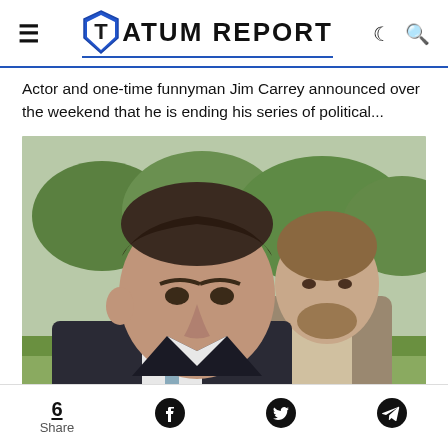TATUM REPORT
Actor and one-time funnyman Jim Carrey announced over the weekend that he is ending his series of political...
[Figure (photo): Two men in suits outdoors with green trees in background, one man in foreground with dark hair, another man with beard in background]
6 Share | Facebook | Twitter | Telegram